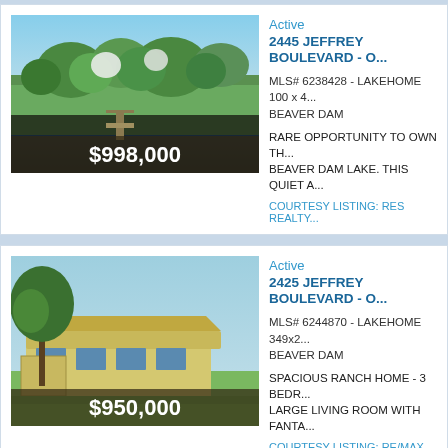[Figure (photo): Aerial view of lake property with trees and dock, price overlay $998,000]
Active
2445 JEFFREY BOULEVARD -
MLS# 6238428 - LAKEHOME 100 x 4 BEAVER DAM
RARE OPPORTUNITY TO OWN THE BEAVER DAM LAKE. THIS QUIET A
COURTESY LISTING: RES REALTY
[Figure (photo): Ranch style home with large deck and green lawn, price overlay $950,000]
Active
2425 JEFFREY BOULEVARD -
MLS# 6244870 - LAKEHOME 349x2 BEAVER DAM
SPACIOUS RANCH HOME - 3 BEDR LARGE LIVING ROOM WITH FANTA
COURTESY LISTING: RE/MAX NOR
[Figure (photo): Wooded lakefront property photo, partially visible]
Active
2425 JEFFREY BOULEVARD -